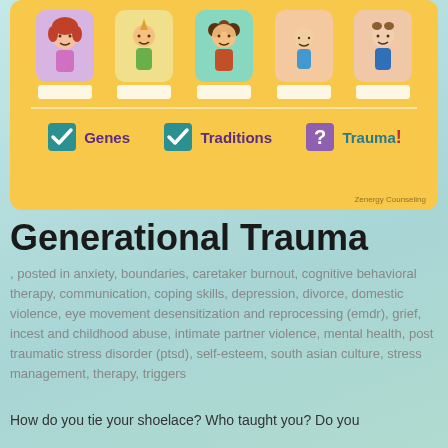[Figure (infographic): Illustration showing generational transmission: five cartoon child figures in colored boxes (lavender, yellow, teal, peach, light peach), with white label bars beneath each. Below the figures are three items with checkmarks or question mark icons: 'Genes' (teal checkmark), 'Traditions' (teal checkmark), 'Trauma!' (purple question mark/exclamation). Watermark reads 'Zenergy Counseling'. Background is golden yellow.]
Generational Trauma
, posted in anxiety, boundaries, caretaker burnout, cognitive behavioral therapy, communication, coping skills, depression, divorce, domestic violence, eye movement desensitization and reprocessing (emdr), grief, incest and childhood abuse, intimate partner violence, mental health, post traumatic stress disorder (ptsd), self-esteem, south asian culture, stress management, therapy, triggers
How do you tie your shoelace? Who taught you? Do you